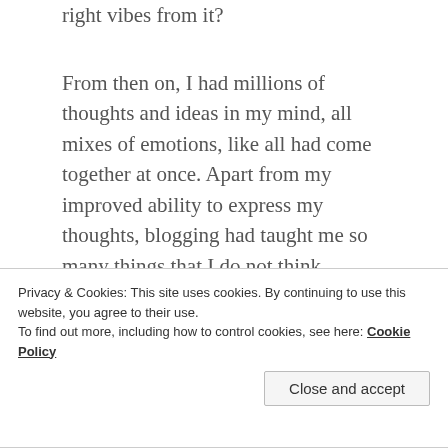right vibes from it?
From then on, I had millions of thoughts and ideas in my mind, all mixes of emotions, like all had come together at once. Apart from my improved ability to express my thoughts, blogging had taught me so many things that I do not think anything else could have. I have briefed both good and bad things that I've encountered yet in bullet points as follows :
Make friends not followers
others is all that matters
Privacy & Cookies: This site uses cookies. By continuing to use this website, you agree to their use. To find out more, including how to control cookies, see here: Cookie Policy